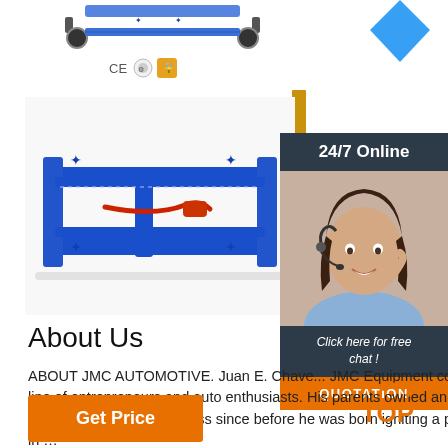[Figure (photo): Top view of blue automotive lift/scissor platform product on wheels]
[Figure (illustration): Blue diamond/rhombus decorative shape in top right]
[Figure (illustration): CE certification icons and Alibaba trade assurance badge]
[Figure (photo): Close-up of blue automotive frame/chassis straightening machine with hydraulic components]
[Figure (photo): Blue automotive lift machine, smaller view on right side]
[Figure (illustration): Gold/yellow vertical bar decorative element]
[Figure (photo): 24/7 Online customer service widget with woman wearing headset, chat button, and QUOTATION button]
About Us
ABOUT JMC AUTOMOTIVE. Juan E. Chave... JMC Equipment comes from a long line of entrepreneurs and auto enthusiasts. His parents owned an auto dealership and tire distribution business since before he was born igniting a passion for cars in ...
[Figure (illustration): Orange Get Price button]
[Figure (illustration): TOP badge with orange dots]